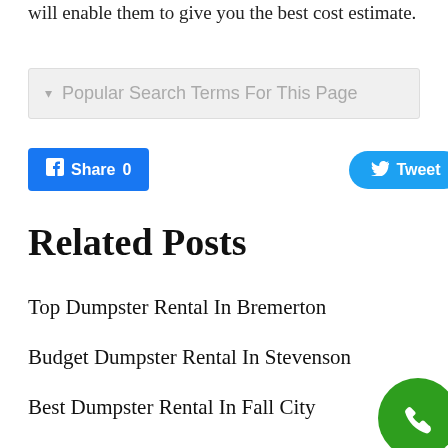will enable them to give you the best cost estimate.
▾  Popular Search Terms For This Page
[Figure (other): Facebook Share button with count 0 and Twitter Tweet button]
Related Posts
Top Dumpster Rental In Bremerton
Budget Dumpster Rental In Stevenson
Best Dumpster Rental In Fall City
[Figure (other): Green circular phone/call button in bottom right corner]